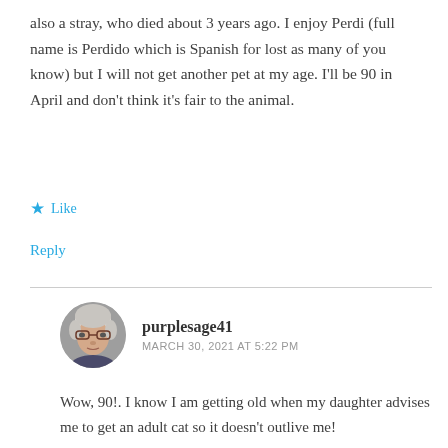also a stray, who died about 3 years ago. I enjoy Perdi (full name is Perdido which is Spanish for lost as many of you know) but I will not get another pet at my age. I'll be 90 in April and don't think it's fair to the animal.
★ Like
Reply
purplesage41
MARCH 30, 2021 AT 5:22 PM
Wow, 90!. I know I am getting old when my daughter advises me to get an adult cat so it doesn't outlive me!